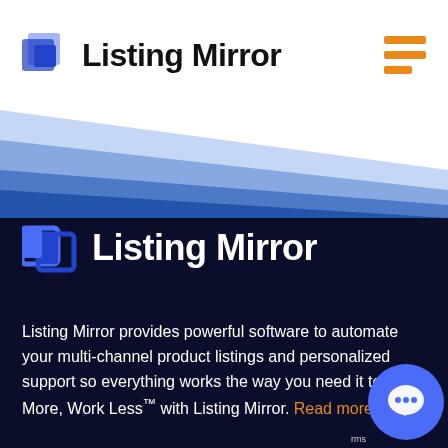Listing Mirror
[Figure (illustration): Blue angled geometric banner shape transitioning from white to blue]
Listing Mirror
Listing Mirror provides powerful software to automate your multi-channel product listings and personalized support so everything works the way you need it to. Sell More, Work Less™ with Listing Mirror. Read more